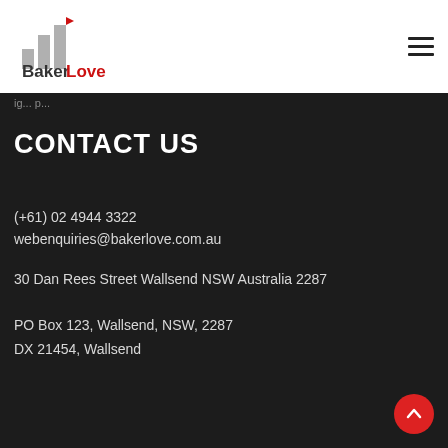[Figure (logo): BakerLove Lawyers logo with bar chart icon and text 'BakerLove LAWYERS']
ig... p...
CONTACT US
(+61) 02 4944 3322
webenquiries@bakerlove.com.au
30 Dan Rees Street Wallsend NSW Australia 2287
PO Box 123, Wallsend, NSW, 2287
DX 21454, Wallsend